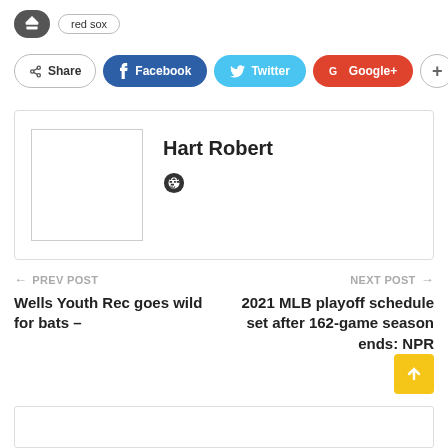[Figure (other): Tag icon button (dark oval) and 'red sox' tag label]
[Figure (other): Social share bar with Share, Facebook, Twitter, Google+, and plus buttons]
[Figure (other): Author card with placeholder avatar image box and author name Hart Robert with a heart/globe icon]
Hart Robert
PREV POST
Wells Youth Rec goes wild for bats –
NEXT POST
2021 MLB playoff schedule set after 162-game season ends: NPR
[Figure (other): Scroll to top yellow button with up arrow]
[Figure (other): Bottom content bar outline]